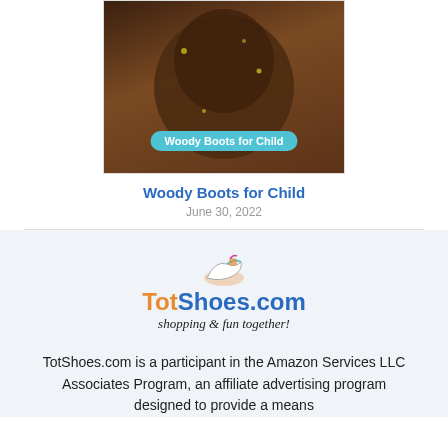[Figure (photo): Photo of brown cowboy boots with Woody (Toy Story) character design, with a cyan rounded label overlay reading 'Woody Boots for Child']
Woody Boots for Child
June 30, 2022
[Figure (logo): TotShoes.com logo with a small shoe icon and tagline 'shopping & fun together!']
TotShoes.com is a participant in the Amazon Services LLC Associates Program, an affiliate advertising program designed to provide a means